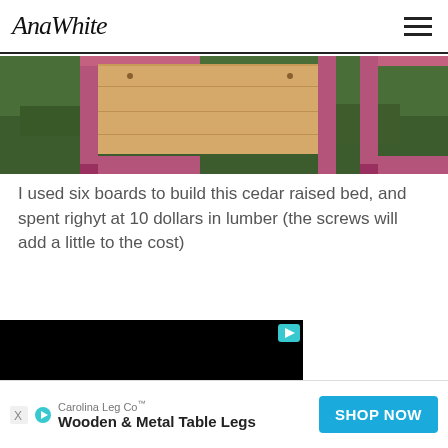AnaWhite
[Figure (photo): Photo of pink/painted wooden raised garden bed frames with natural wood surfaces on grass]
I used six boards to build this cedar raised bed, and spent righyt at 10 dollars in lumber (the screws will add a little to the cost)
[Figure (screenshot): Black video player area with a teal play button in the top right corner]
Carolina Leg Co™ Wooden & Metal Table Legs SHOP NOW